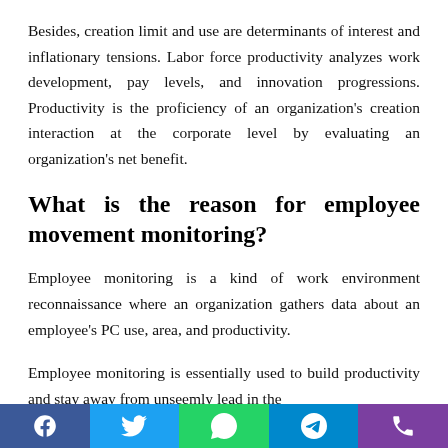Besides, creation limit and use are determinants of interest and inflationary tensions. Labor force productivity analyzes work development, pay levels, and innovation progressions. Productivity is the proficiency of an organization's creation interaction at the corporate level by evaluating an organization's net benefit.
What is the reason for employee movement monitoring?
Employee monitoring is a kind of work environment reconnaissance where an organization gathers data about an employee's PC use, area, and productivity.
Employee monitoring is essentially used to build productivity and stay away from unseemly lead in the
Social share buttons: Facebook, Twitter, WhatsApp, Telegram, Phone